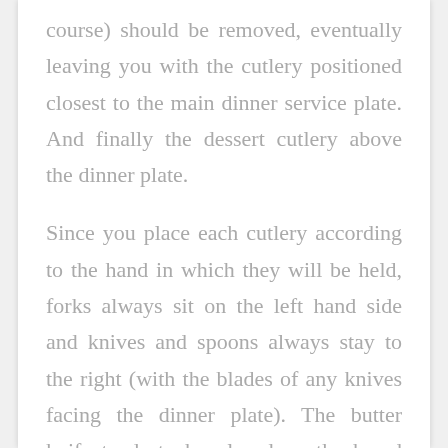course) should be removed, eventually leaving you with the cutlery positioned closest to the main dinner service plate. And finally the dessert cutlery above the dinner plate.
Since you place each cutlery according to the hand in which they will be held, forks always sit on the left hand side and knives and spoons always stay to the right (with the blades of any knives facing the dinner plate). The butter knife tends to be placed on the bread plate itself, and is usually placed top left of the